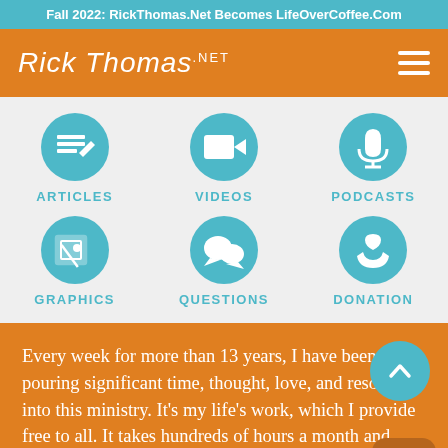Fall 2022: RickThomas.Net Becomes LifeOverCoffee.Com
[Figure (logo): Rick Thomas .net logo in white cursive script on orange background with hamburger menu icon]
[Figure (infographic): Navigation grid with 6 teal circular icons: Articles, Videos, Podcasts, Graphics, Questions, Donation on light grey background]
Every week for more than 13 years, I have been pouring significant time, thought, love, and resources into this ministry. It's my life's work, which I provide free to all. It takes hundreds of hours a month and thousands of dollars to